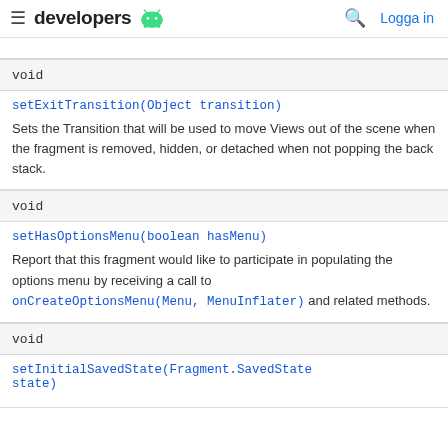developers [android logo] | [search icon] Logga in
| void | setExitTransition(Object transition)
Sets the Transition that will be used to move Views out of the scene when the fragment is removed, hidden, or detached when not popping the back stack. |
| void | setHasOptionsMenu(boolean hasMenu)
Report that this fragment would like to participate in populating the options menu by receiving a call to onCreateOptionsMenu(Menu, MenuInflater) and related methods. |
| void | setInitialSavedState(Fragment.SavedState state) |